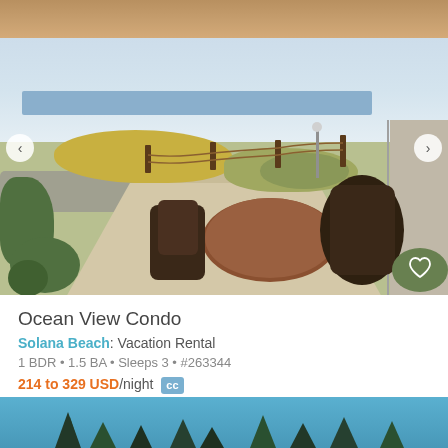[Figure (photo): Outdoor patio area of an ocean view condo with a round wooden table and dark chairs in foreground, landscaped garden with bushes, a path leading toward the ocean, fence posts with rope, a light post, staircase on the right, and ocean visible in the background under a partly cloudy sky. A wooden roof overhang frames the top of the image.]
Ocean View Condo
Solana Beach: Vacation Rental
1 BDR • 1.5 BA • Sleeps 3 • #263344
214 to 329 USD/night  cc
[Figure (photo): Bottom portion of a second listing card showing a bright blue sky with dark green tree tops visible at the bottom.]